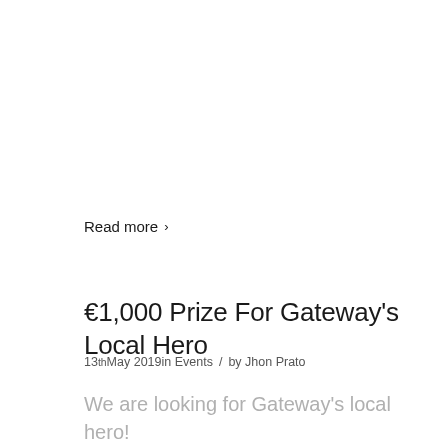Read more >
€1,000 Prize For Gateway's Local Hero
13th May 2019in Events  /  by Jhon Prato
We are looking for Gateway's local hero!